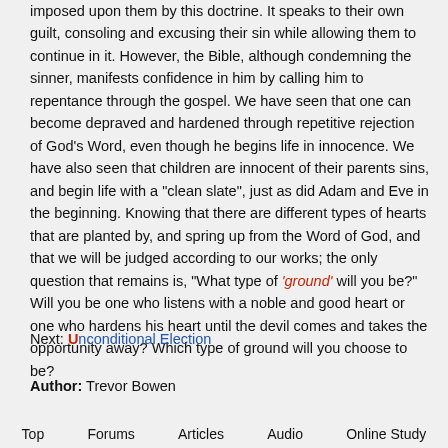imposed upon them by this doctrine. It speaks to their own guilt, consoling and excusing their sin while allowing them to continue in it. However, the Bible, although condemning the sinner, manifests confidence in him by calling him to repentance through the gospel. We have seen that one can become depraved and hardened through repetitive rejection of God’s Word, even though he begins life in innocence. We have also seen that children are innocent of their parents sins, and begin life with a "clean slate", just as did Adam and Eve in the beginning. Knowing that there are different types of hearts that are planted by, and spring up from the Word of God, and that we will be judged according to our works; the only question that remains is, "What type of ‘ground’ will you be?" Will you be one who listens with a noble and good heart or one who hardens his heart until the devil comes and takes the opportunity away? Which type of ground will you choose to be?
Next: Unconditional Election
Author: Trevor Bowen
Top   Forums   Articles   Audio   Online Study